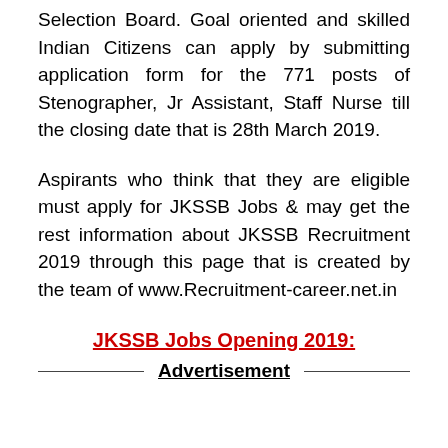Selection Board. Goal oriented and skilled Indian Citizens can apply by submitting application form for the 771 posts of Stenographer, Jr Assistant, Staff Nurse till the closing date that is 28th March 2019.
Aspirants who think that they are eligible must apply for JKSSB Jobs & may get the rest information about JKSSB Recruitment 2019 through this page that is created by the team of www.Recruitment-career.net.in
JKSSB Jobs Opening 2019:
Advertisement